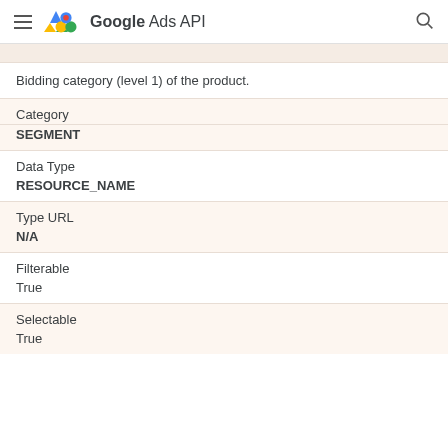Google Ads API
Bidding category (level 1) of the product.
| Field | Value |
| --- | --- |
| Category | SEGMENT |
| Data Type | RESOURCE_NAME |
| Type URL | N/A |
| Filterable | True |
| Selectable | True |